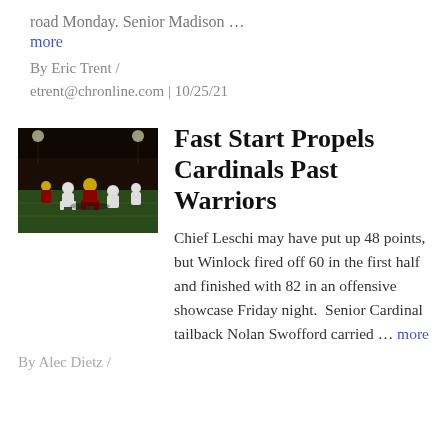road Monday. Senior Madison …
more
By Eric Trent / etrent@chronline.com | 10/25/21
[Figure (photo): Night football game photo showing players in maroon/gold and white uniforms on a dark field]
Fast Start Propels Cardinals Past Warriors
Chief Leschi may have put up 48 points, but Winlock fired off 60 in the first half and finished with 82 in an offensive showcase Friday night.  Senior Cardinal tailback Nolan Swofford carried … more
By Alec Dietz /